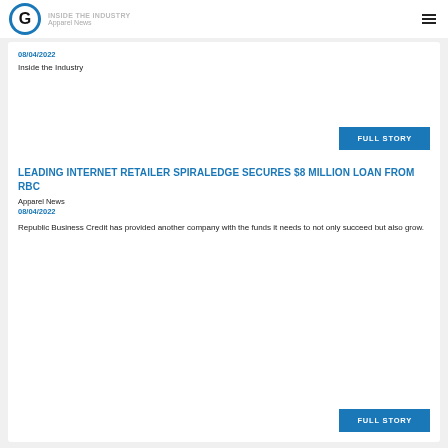INSIDE THE INDUSTRY Apparel News
08/04/2022
Inside the Industry
LEADING INTERNET RETAILER SPIRALEDGE SECURES $8 MILLION LOAN FROM RBC
Apparel News
08/04/2022
Republic Business Credit has provided another company with the funds it needs to not only succeed but also grow.